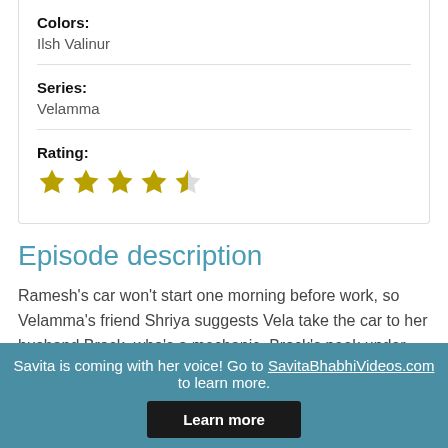Colors: Ilsh Valinur
Series: Velamma
Rating: 4 stars (4.5 out of 5)
Episode description
Ramesh's car won't start one morning before work, so Velamma's friend Shriya suggests Vela take the car to her husband Brock, who's a mechanic. Brock's peek under the bonnet reveals some expensive major work
Savita is coming with her voice! Go to SavitaBhabhiVideos.com to learn more. Learn more